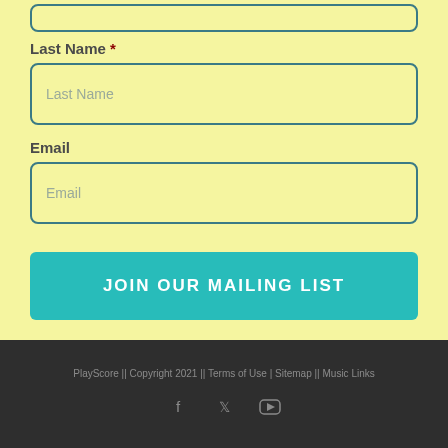Last Name *
Last Name (placeholder)
Email
Email (placeholder)
JOIN OUR MAILING LIST
PlayScore || Copyright 2021 || Terms of Use | Sitemap || Music Links